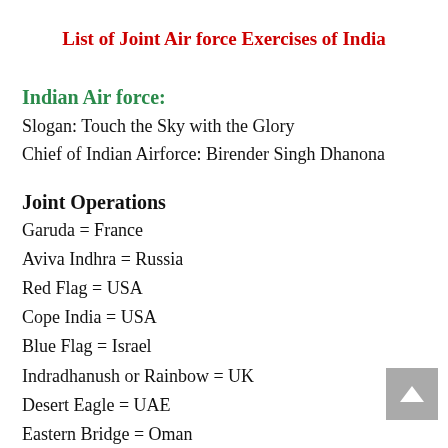List of Joint Air force Exercises of India
Indian Air force:
Slogan: Touch the Sky with the Glory
Chief of Indian Airforce: Birender Singh Dhanona
Joint Operations
Garuda = France
Aviva Indhra = Russia
Red Flag = USA
Cope India = USA
Blue Flag = Israel
Indradhanush or Rainbow = UK
Desert Eagle = UAE
Eastern Bridge = Oman